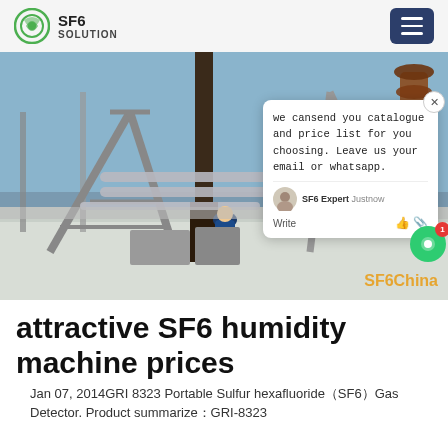SF6 SOLUTION
[Figure (photo): Outdoor electrical substation in winter/snowy conditions with high-voltage equipment, transmission towers, insulators, and a worker in blue overalls. A chat popup overlay is visible on the right side. SF6China watermark at bottom right.]
attractive SF6 humidity machine prices
Jan 07, 2014GRI 8323 Portable Sulfur hexafluoride（SF6）Gas Detector. Product summarize：GRI-8323